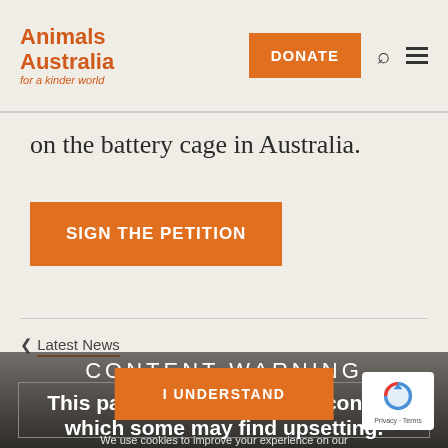Animals Australia for a kinder world | DONATE
on the battery cage in Australia.
SIGN THE PETITION
< Latest News
CONTENT WARNING
This page contains graphic content which some may find upsetting.
We use cookies to improve your experience on our site. To find out more, check out our privacy policy.
I UNDERSTAND